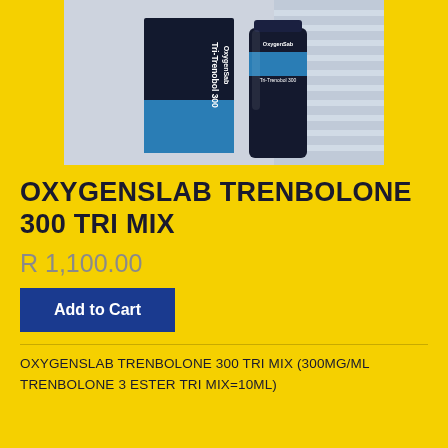[Figure (photo): Product photo of OxygenSlab Tri-Trenobol 300 box and bottle on a light background]
OXYGENSLAB TRENBOLONE 300 TRI MIX
R 1,100.00
Add to Cart
OXYGENSLAB TRENBOLONE 300 TRI MIX (300MG/ML TRENBOLONE 3 ESTER TRI MIX=10ML)